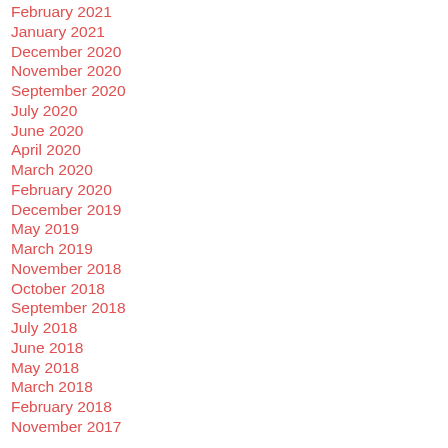February 2021
January 2021
December 2020
November 2020
September 2020
July 2020
June 2020
April 2020
March 2020
February 2020
December 2019
May 2019
March 2019
November 2018
October 2018
September 2018
July 2018
June 2018
May 2018
March 2018
February 2018
November 2017